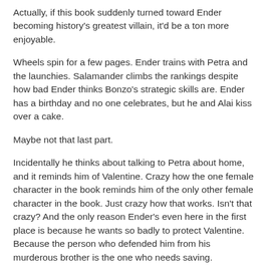Actually, if this book suddenly turned toward Ender becoming history's greatest villain, it'd be a ton more enjoyable.
Wheels spin for a few pages. Ender trains with Petra and the launchies. Salamander climbs the rankings despite how bad Ender thinks Bonzo's strategic skills are. Ender has a birthday and no one celebrates, but he and Alai kiss over a cake.
Maybe not that last part.
Incidentally he thinks about talking to Petra about home, and it reminds him of Valentine. Crazy how the one female character in the book reminds him of the only other female character in the book. Just crazy how that works. Isn't that crazy? And the only reason Ender's even here in the first place is because he wants so badly to protect Valentine. Because the person who defended him from his murderous brother is the one who needs saving.
Ender begins his fourth game the next day. I don't have the patience to figure out how they're defining "game" or "fourth"